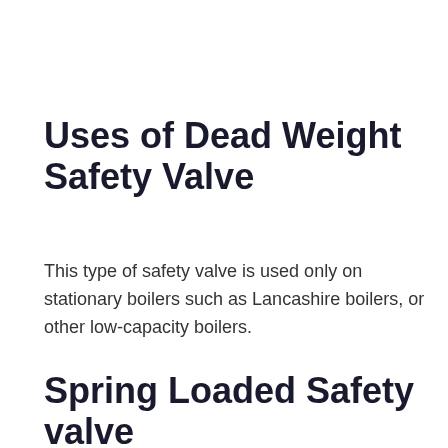Uses of Dead Weight Safety Valve
This type of safety valve is used only on stationary boilers such as Lancashire boilers, or other low-capacity boilers.
Spring Loaded Safety valve